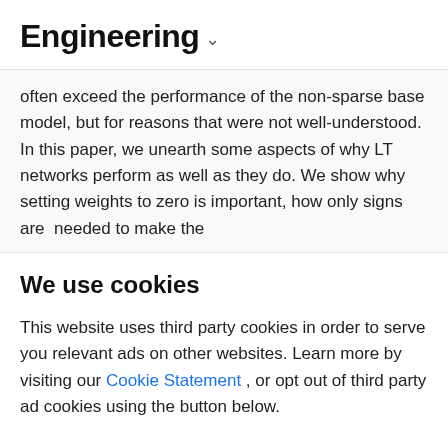Engineering
often exceed the performance of the non-sparse base model, but for reasons that were not well-understood. In this paper, we unearth some aspects of why LT networks perform as well as they do. We show why setting weights to zero is important, how only signs are needed to make the
We use cookies
This website uses third party cookies in order to serve you relevant ads on other websites. Learn more by visiting our Cookie Statement, or opt out of third party ad cookies using the button below.
Opt-Out
Opt-In